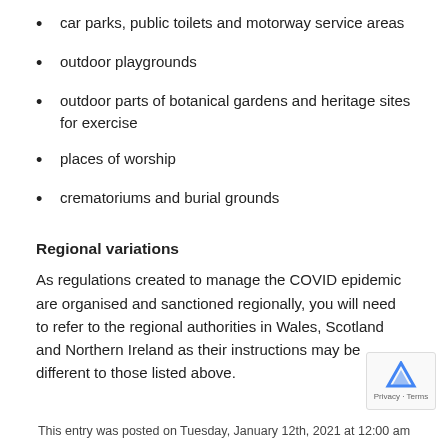car parks, public toilets and motorway service areas
outdoor playgrounds
outdoor parts of botanical gardens and heritage sites for exercise
places of worship
crematoriums and burial grounds
Regional variations
As regulations created to manage the COVID epidemic are organised and sanctioned regionally, you will need to refer to the regional authorities in Wales, Scotland and Northern Ireland as their instructions may be different to those listed above.
This entry was posted on Tuesday, January 12th, 2021 at 12:00 am